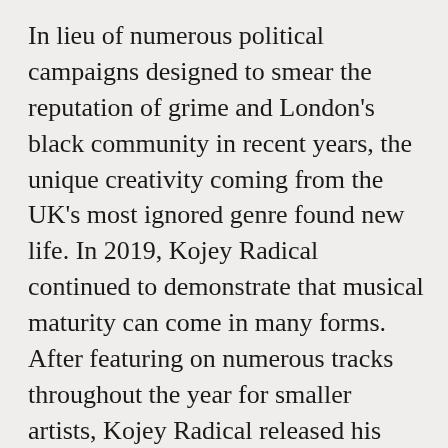In lieu of numerous political campaigns designed to smear the reputation of grime and London's black community in recent years, the unique creativity coming from the UK's most ignored genre found new life. In 2019, Kojey Radical continued to demonstrate that musical maturity can come in many forms. After featuring on numerous tracks throughout the year for smaller artists, Kojey Radical released his third album, Cashmere Tears, ten songs that sit somewhere between the catchy big band sound of Chance The Rapper and the infectious hooks of Jay Prince. Kojey Radical represents how admirable grime role models can be and the combination of his charming delivery, expansive